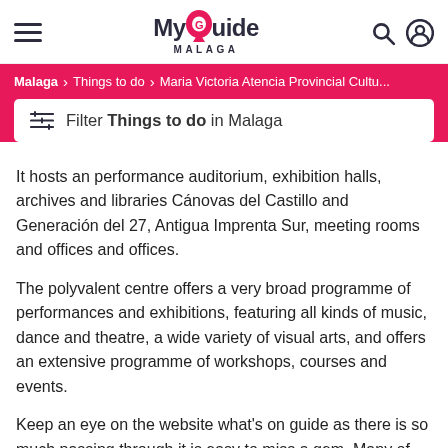MyGuide MALAGA
Malaga > Things to do > Maria Victoria Atencia Provincial Cultu...
Filter Things to do in Malaga
It hosts an performance auditorium, exhibition halls, archives and libraries Cánovas del Castillo and Generación del 27, Antigua Imprenta Sur, meeting rooms and offices and offices.
The polyvalent centre offers a very broad programme of performances and exhibitions, featuring all kinds of music, dance and theatre, a wide variety of visual arts, and offers an extensive programme of workshops, courses and events.
Keep an eye on the website what's on guide as there is so much passing through it is easy to miss a gem. Many of the performances are free, and you need to apply via the ticketing website to obtain your free entry.